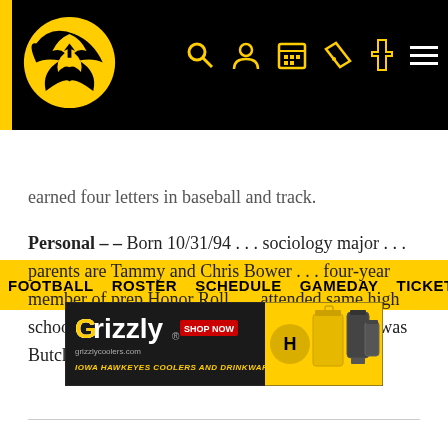Iowa Hawkeyes Football - Header navigation with logo and icons
FOOTBALL  ROSTER  SCHEDULE  GAMEDAY  TICKETS  CH
earned four letters in baseball and track.
Personal – – Born 10/31/94 . . . sociology major . . . parents are Tammy and Chris Bower . . . four-year member of prep Honor Roll . . . attended same high school as DL Jacob Giese . . . high school coach was Butch Pederson.
[Figure (illustration): Grizzly coolers and drinkware advertisement banner for Iowa Hawkeyes. Black and gold banner with Grizzly logo, SHOP NOW button, grizzlycoolers.com, and tagline IOWA HAWKEYES COOLERS AND DRINKWARE with product images.]